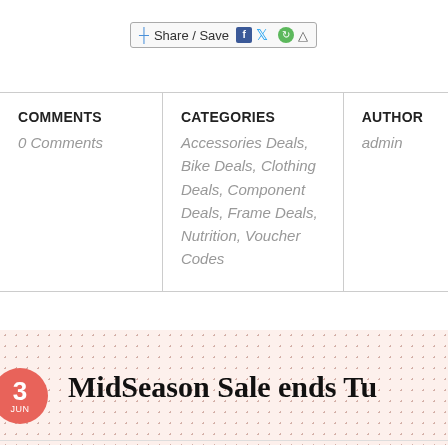[Figure (screenshot): Share / Save social sharing button with Facebook, Twitter, and other social media icons]
| COMMENTS | CATEGORIES | AUTHOR |
| --- | --- | --- |
| 0 Comments | Accessories Deals, Bike Deals, Clothing Deals, Component Deals, Frame Deals, Nutrition, Voucher Codes | admin |
MidSeason Sale ends Tu